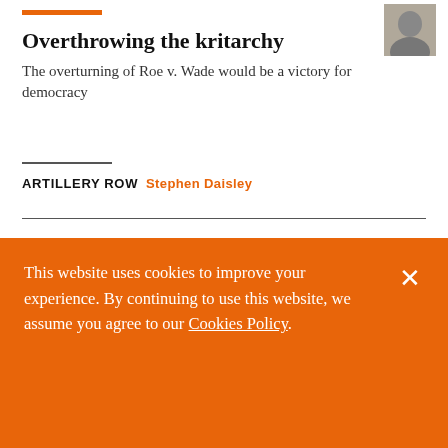Overthrowing the kritarchy
The overturning of Roe v. Wade would be a victory for democracy
ARTILLERY ROW  Stephen Daisley
This website uses cookies to improve your experience. By continuing to use this website, we assume you agree to our Cookies Policy.